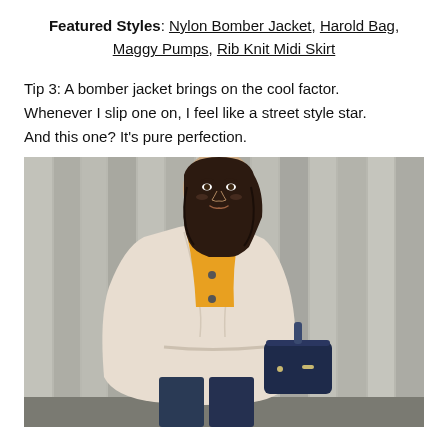Featured Styles: Nylon Bomber Jacket, Harold Bag, Maggy Pumps, Rib Knit Midi Skirt
Tip 3: A bomber jacket brings on the cool factor. Whenever I slip one on, I feel like a street style star. And this one? It's pure perfection.
[Figure (photo): Woman with dark hair wearing a light beige nylon bomber jacket over a mustard/orange top and dark jeans, holding a navy blue handbag, standing in front of a rustic grey wooden plank wall.]